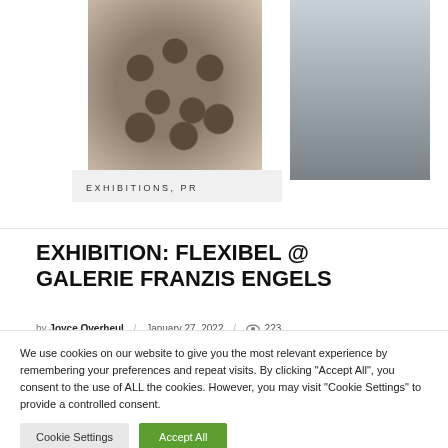[Figure (photo): Two artworks: left is a black and white circular/floral sculptural piece, right is a furry/textured hanging object on a light background]
EXHIBITIONS, PR
EXHIBITION: FLEXIBEL @ GALERIE FRANZIS ENGELS
by Joyce Overheul / January 27, 2022 / 223
We use cookies on our website to give you the most relevant experience by remembering your preferences and repeat visits. By clicking "Accept All", you consent to the use of ALL the cookies. However, you may visit "Cookie Settings" to provide a controlled consent.
Cookie Settings | Accept All